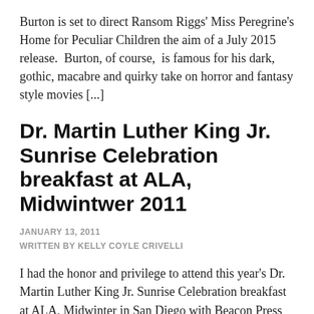Burton is set to direct Ransom Riggs' Miss Peregrine's Home for Peculiar Children the aim of a July 2015 release.  Burton, of course,  is famous for his dark, gothic, macabre and quirky take on horror and fantasy style movies [...]
Dr. Martin Luther King Jr. Sunrise Celebration breakfast at ALA, Midwintwer 2011
JANUARY 13, 2011
WRITTEN BY KELLY COYLE CRIVELLI
I had the honor and privilege to attend this year's Dr. Martin Luther King Jr. Sunrise Celebration breakfast at ALA, Midwinter in San Diego with Beacon Press editor/author Dr. Michael Honey editor of one of the latest books in the King Legacy Series from Beacon Press, All Labor Has